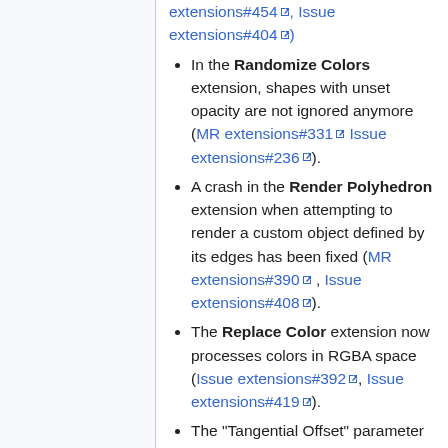extensions#454, Issue extensions#404)
In the Randomize Colors extension, shapes with unset opacity are not ignored anymore (MR extensions#331 Issue extensions#236).
A crash in the Render Polyhedron extension when attempting to render a custom object defined by its edges has been fixed (MR extensions#390 , Issue extensions#408).
The Replace Color extension now processes colors in RGBA space (Issue extensions#392, Issue extensions#419).
The "Tangential Offset" parameter of the Scatter extension is now a percentage of the pattern width, and